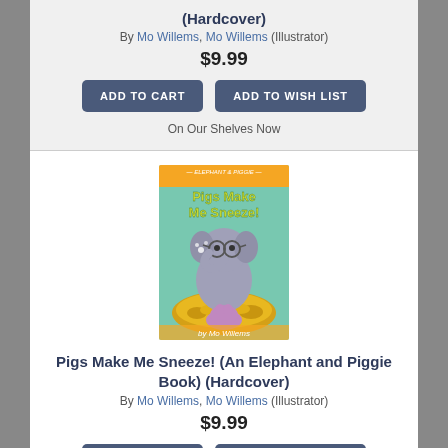(Hardcover)
By Mo Willems, Mo Willems (Illustrator)
$9.99
ADD TO CART
ADD TO WISH LIST
On Our Shelves Now
[Figure (illustration): Book cover: Pigs Make Me Sneeze! (An Elephant and Piggie Book) by Mo Willems. Orange header band with series name, teal/mint background, cartoon elephant sneezing surrounded by golden coins/popcorn, purple pig at bottom, title in yellow-green lettering, author name at bottom.]
Pigs Make Me Sneeze! (An Elephant and Piggie Book) (Hardcover)
By Mo Willems, Mo Willems (Illustrator)
$9.99
ADD TO CART
ADD TO WISH LIST
On Our Shelves Now